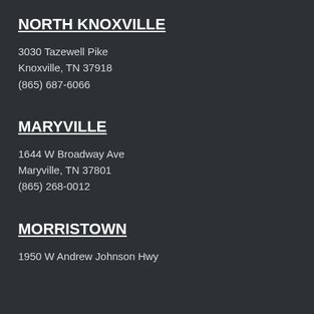NORTH KNOXVILLE
3030 Tazewell Pike
Knoxville, TN 37918
(865) 687-6066
MARYVILLE
1644 W Broadway Ave
Maryville, TN 37801
(865) 268-0012
MORRISTOWN
1950 W Andrew Johnson Hwy